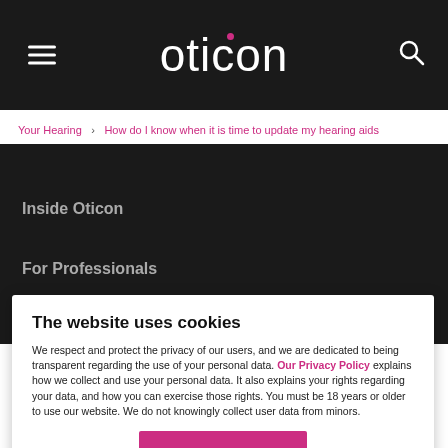[Figure (logo): Oticon logo in white text on dark background with magenta dot above letter i, hamburger menu icon on left, search icon on right]
Your Hearing  >  How do I know when it is time to update my hearing aids
Inside Oticon
For Professionals
The website uses cookies
We respect and protect the privacy of our users, and we are dedicated to being transparent regarding the use of your personal data. Our Privacy Policy explains how we collect and use your personal data. It also explains your rights regarding your data, and how you can exercise those rights. You must be 18 years or older to use our website. We do not knowingly collect user data from minors.
I accept
Do not sell my personal data
Powered by:
Cookie Information